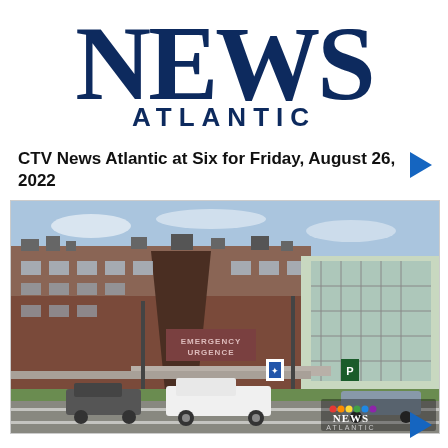[Figure (logo): CTV News Atlantic logo with large serif NEWS text and sans-serif ATLANTIC subtitle in dark navy blue]
CTV News Atlantic at Six for Friday, August 26, 2022
[Figure (photo): Exterior photograph of a hospital building showing an Emergency / Urgence entrance with a brick facade, glass sections, parking lot with vehicles, and a CTV News Atlantic watermark in the bottom right corner]